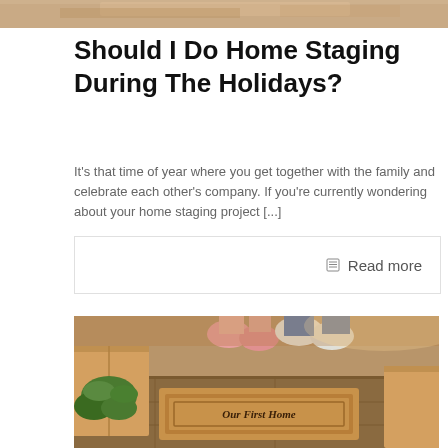[Figure (photo): Cropped top portion of a photo, likely showing people or a room related to home staging]
Should I Do Home Staging During The Holidays?
It’s that time of year where you get together with the family and celebrate each other’s company. If you’re currently wondering about your home staging project [...]
Read more
[Figure (photo): Photo of a ‘Our First Home’ welcome doormat on a hardwood floor, with moving boxes, a plant, and people's feet visible around it]